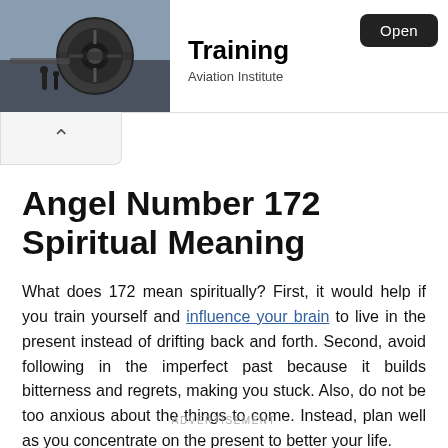[Figure (photo): Photo of an aircraft engine on the tarmac, dark industrial tones]
Training
Aviation Institute
Open
Angel Number 172 Spiritual Meaning
What does 172 mean spiritually? First, it would help if you train yourself and influence your brain to live in the present instead of drifting back and forth. Second, avoid following in the imperfect past because it builds bitterness and regrets, making you stuck. Also, do not be too anxious about the things to come. Instead, plan well as you concentrate on the present to better your life.
ADVERTISEMENT